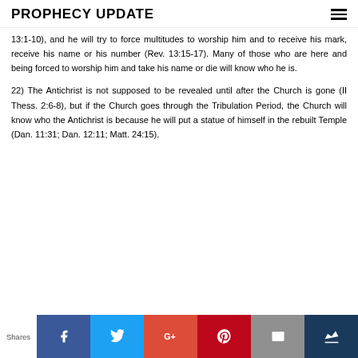PROPHECY UPDATE
13:1-10), and he will try to force multitudes to worship him and to receive his mark, receive his name or his number (Rev. 13:15-17). Many of those who are here and being forced to worship him and take his name or die will know who he is.
22) The Antichrist is not supposed to be revealed until after the Church is gone (II Thess. 2:6-8), but if the Church goes through the Tribulation Period, the Church will know who the Antichrist is because he will put a statue of himself in the rebuilt Temple (Dan. 11:31; Dan. 12:11; Matt. 24:15).
Shares [Facebook] [Twitter] [Google+] [Pinterest] [Email] [Crown]